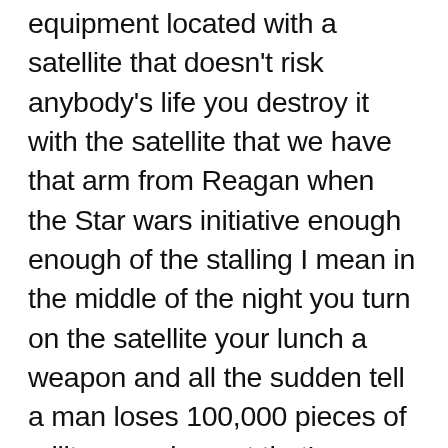equipment located with a satellite that doesn't risk anybody's life you destroy it with the satellite that we have that arm from Reagan when the Star wars initiative enough enough of the stalling I mean in the middle of the night you turn on the satellite your lunch a weapon and all the sudden tell a man loses 100,000 pieces of military equipment that's a thousand years ahead of anything never had I mean these are people that wrote goats around and now they're driving million dollars striker vehicles okay look destroy the equipment or retrieve the equipment you can't leave it there for them this is going to be the launch pad of so much devastation in the rest of the world and people are so busy trying to pretend it doesn't matter yeah it doesn't matter if America ever wants to be back on the top of the pile you need to get rid of an coalition